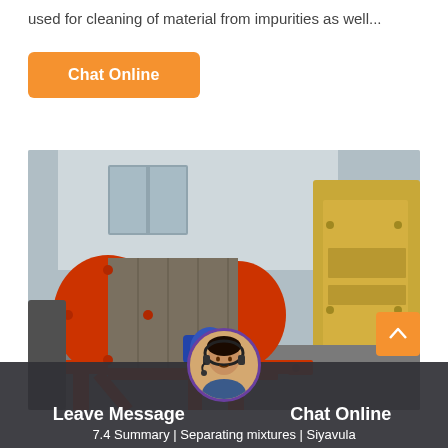used for cleaning of material from impurities as well...
[Figure (other): Orange 'Chat Online' button]
[Figure (photo): Industrial magnetic separator machine with red/orange frame and drum, mounted on a stand in a factory/warehouse setting. A yellow machine is visible to the right.]
Leave Message   Chat Online
7.4 Summary | Separating mixtures | Siyavula